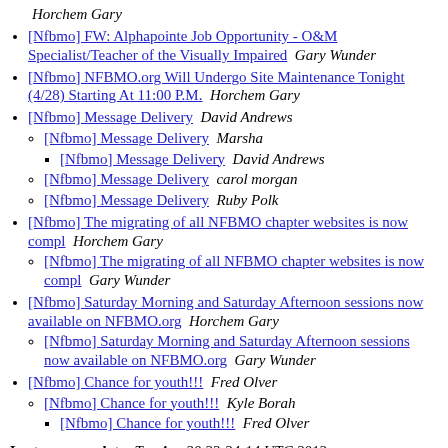Horchem Gary
[Nfbmo] FW: Alphapointe Job Opportunity - O&M Specialist/Teacher of the Visually Impaired  Gary Wunder
[Nfbmo] NFBMO.org Will Undergo Site Maintenance Tonight (4/28) Starting At 11:00 P.M.  Horchem Gary
[Nfbmo] Message Delivery  David Andrews
[Nfbmo] Message Delivery  Marsha
[Nfbmo] Message Delivery  David Andrews
[Nfbmo] Message Delivery  carol morgan
[Nfbmo] Message Delivery  Ruby Polk
[Nfbmo] The migrating of all NFBMO chapter websites is now compl  Horchem Gary
[Nfbmo] The migrating of all NFBMO chapter websites is now compl  Gary Wunder
[Nfbmo] Saturday Morning and Saturday Afternoon sessions now available on NFBMO.org  Horchem Gary
[Nfbmo] Saturday Morning and Saturday Afternoon sessions now available on NFBMO.org  Gary Wunder
[Nfbmo] Chance for youth!!!  Fred Olver
[Nfbmo] Chance for youth!!!  Kyle Borah
[Nfbmo] Chance for youth!!!  Fred Olver
Last message date: Tue Apr 30 22:34:14 UTC 2013
Archived on: Mon Jun 29 15:17:43 UTC 2020